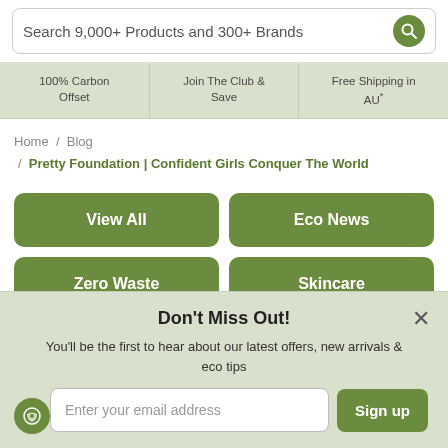Search 9,000+ Products and 300+ Brands
100% Carbon Offset | Join The Club & Save | Free Shipping in AU*
Home / Blog / Pretty Foundation | Confident Girls Conquer The World
View All
Eco News
Zero Waste
Skincare
Makeup
Hair & Body
Don't Miss Out!
You'll be the first to hear about our latest offers, new arrivals & eco tips
Enter your email address
Sign up